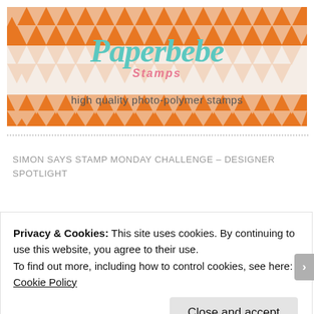[Figure (logo): Paperbebe Stamps logo banner with orange and white chevron/knit pattern background, teal script logo text 'Paperbebe' with pink 'Stamps' below, and text 'high quality photo-polymer stamps']
SIMON SAYS STAMP MONDAY CHALLENGE – DESIGNER SPOTLIGHT
[Figure (illustration): Circular badge/seal in grey with starburst border, text 'WAS FEATURED IN TH...' around top, teal inner circle with Boston Terrier dog illustration in center]
Privacy & Cookies: This site uses cookies. By continuing to use this website, you agree to their use.
To find out more, including how to control cookies, see here: Cookie Policy
Close and accept